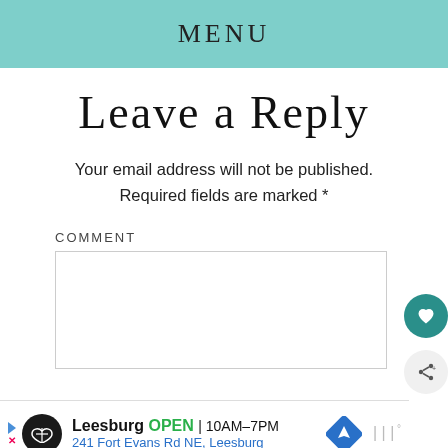MENU
Leave a Reply
Your email address will not be published. Required fields are marked *
COMMENT
[Figure (other): Comment text input box, a bordered empty textarea]
[Figure (other): Floating action button with heart icon (teal background)]
[Figure (other): Floating action button with share icon (light gray background)]
[Figure (other): Ad banner: Leesburg OPEN 10AM-7PM, 241 Fort Evans Rd NE, Leesburg, with navigation icon and mute icon]